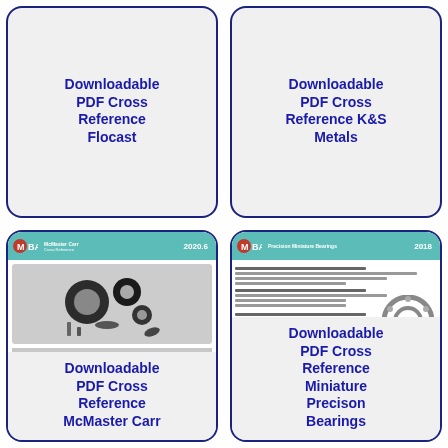[Figure (other): Card with text: Downloadable PDF Cross Reference Flocast]
Downloadable PDF Cross Reference Flocast
[Figure (other): Card with text: Downloadable PDF Cross Reference K&S Metals]
Downloadable PDF Cross Reference K&S Metals
[Figure (illustration): MBA McMaster Carr 2020.6 catalog cover showing O-rings and hardware components]
Downloadable PDF Cross Reference McMaster Carr
[Figure (illustration): MBA 2018 Precision Miniature Bearings catalog page showing bearing rings]
Downloadable PDF Cross Reference Miniature Precison Bearings